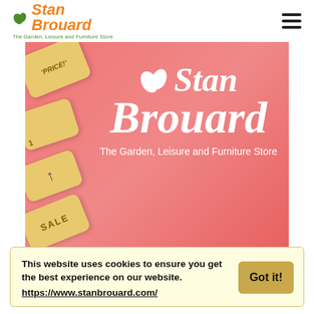Stan Brouard — The Garden, Leisure and Furniture Store
[Figure (photo): Stan Brouard brand hero image on pink/coral background with price tag cards on the left and the Stan Brouard logo (white text with leaf icon) centered right, tagline 'The Garden, Leisure and Furniture Store']
This website uses cookies to ensure you get the best experience on our website. https://www.stanbrouard.com/